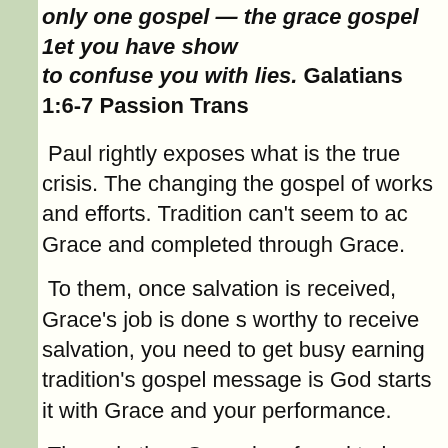only one gospel — the grace gospel 1et you have shown to confuse you with lies. Galatians 1:6-7 Passion Trans
Paul rightly exposes what is the true crisis. The changing the gospel of works and efforts. Tradition can't seem to ac Grace and completed through Grace.
To them, once salvation is received, Grace's job is done s worthy to receive salvation, you need to get busy earning tradition's gospel message is God starts it with Grace and your performance.
The only time Grace is referred to is when they define G words, God still has portions of the Mosaic Law that nee the Grace to accomplish this task. If people don't walk thi never saved, they are in rebellion or are just not "tapping"
The traditional gospel starts with God's Grace. It begins t accepts you just as you are. Once you accept Him in you